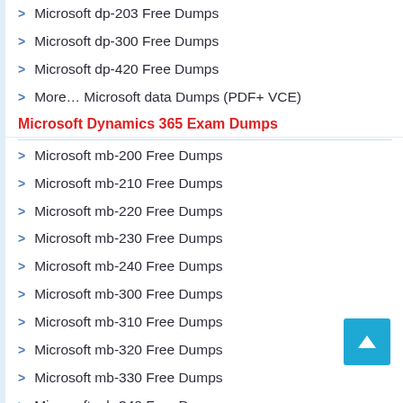Microsoft dp-203 Free Dumps
Microsoft dp-300 Free Dumps
Microsoft dp-420 Free Dumps
More… Microsoft data Dumps (PDF+ VCE)
Microsoft Dynamics 365 Exam Dumps
Microsoft mb-200 Free Dumps
Microsoft mb-210 Free Dumps
Microsoft mb-220 Free Dumps
Microsoft mb-230 Free Dumps
Microsoft mb-240 Free Dumps
Microsoft mb-300 Free Dumps
Microsoft mb-310 Free Dumps
Microsoft mb-320 Free Dumps
Microsoft mb-330 Free Dumps
Microsoft mb-340 Free Dumps